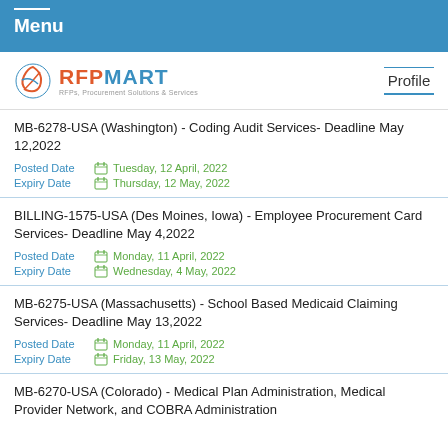Menu
[Figure (logo): RFPMART logo with tagline 'RFPs, Procurement Solutions & Services']
MB-6278-USA (Washington) - Coding Audit Services- Deadline May 12,2022
Posted Date: Tuesday, 12 April, 2022
Expiry Date: Thursday, 12 May, 2022
BILLING-1575-USA (Des Moines, Iowa) - Employee Procurement Card Services- Deadline May 4,2022
Posted Date: Monday, 11 April, 2022
Expiry Date: Wednesday, 4 May, 2022
MB-6275-USA (Massachusetts) - School Based Medicaid Claiming Services- Deadline May 13,2022
Posted Date: Monday, 11 April, 2022
Expiry Date: Friday, 13 May, 2022
MB-6270-USA (Colorado) - Medical Plan Administration, Medical Provider Network, and COBRA Administration